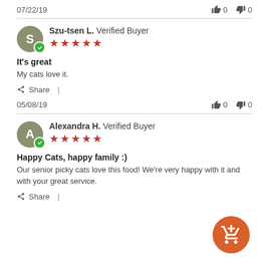07/22/19 | 👍 0 👎 0
Szu-tsen L. Verified Buyer — ★★★★★
It's great
My cats love it.
Share |
05/08/19 | 👍 0 👎 0
Alexandra H. Verified Buyer — ★★★★★
Happy Cats, happy family :)
Our senior picky cats love this food! We're very happy with it and with your great service.
Share |